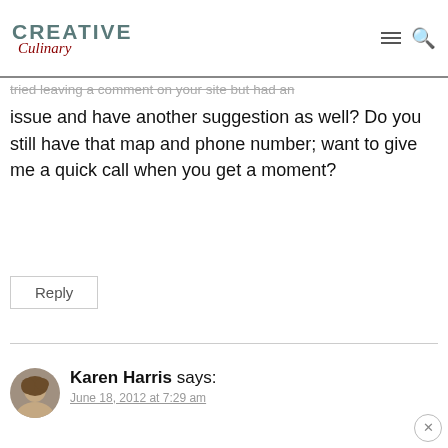Creative Culinary
tried leaving a comment on your site but had an issue and have another suggestion as well? Do you still have that map and phone number; want to give me a quick call when you get a moment?
Reply
Karen Harris says: June 18, 2012 at 7:29 am